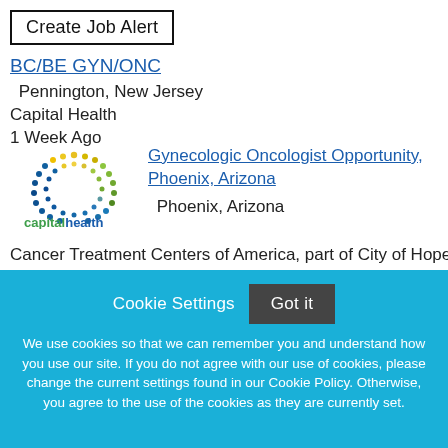Create Job Alert
BC/BE GYN/ONC
Pennington, New Jersey
Capital Health
1 Week Ago
[Figure (logo): Capital Health circular dot logo with capitalhealth wordmark in green and blue]
Gynecologic Oncologist Opportunity, Phoenix, Arizona
Phoenix, Arizona
Cancer Treatment Centers of America, part of City of Hope
1 Week Ago
Cookie Settings
Got it
We use cookies so that we can remember you and understand how you use our site. If you do not agree with our use of cookies, please change the current settings found in our Cookie Policy. Otherwise, you agree to the use of the cookies as they are currently set.